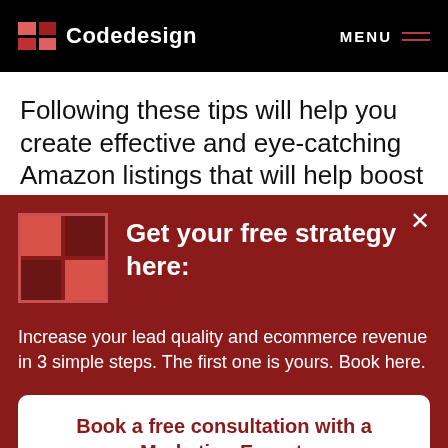Codedesign  MENU
Following these tips will help you create effective and eye-catching Amazon listings that will help boost your sales.
[Figure (screenshot): Red promotional popup modal with Codedesign 2x2 grid logo, heading 'Get your free strategy here:', body text 'Increase your lead quality and ecommerce revenue in 3 simple steps. The first one is yours. Book here.', and a white button 'Book a free consultation with a Marketing Expert.']